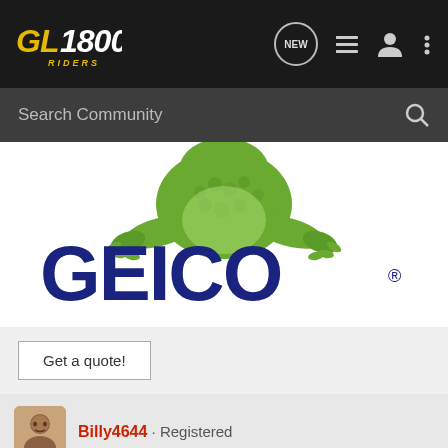[Figure (logo): GL1800 Riders forum logo in gold/yellow italic text on dark background]
[Figure (logo): GEICO insurance advertisement with gecko lizard above GEICO logo in dark blue letters with registered trademark symbol]
Get a quote!
Billy4644 · Registered
J